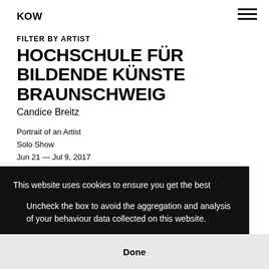KOW
FILTER BY ARTIST
HOCHSCHULE FÜR BILDENDE KÜNSTE BRAUNSCHWEIG
Candice Breitz
Portrait of an Artist
Solo Show
Jun 21 — Jul 9, 2017
This website uses cookies to ensure you get the best
Uncheck the box to avoid the aggregation and analysis of your behaviour data collected on this website.
Done